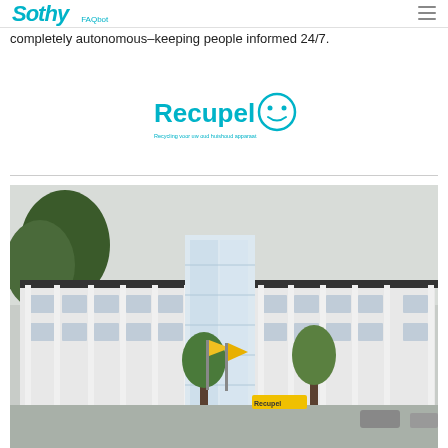Sothy FAQbot
completely autonomous–keeping people informed 24/7.
[Figure (logo): Recupel logo with stylized robot face icon and tagline]
[Figure (photo): Exterior photo of a modern white office building with glass tower entrance, trees, and yellow flags in front. A sign reading 'Recupel' is visible near the entrance.]